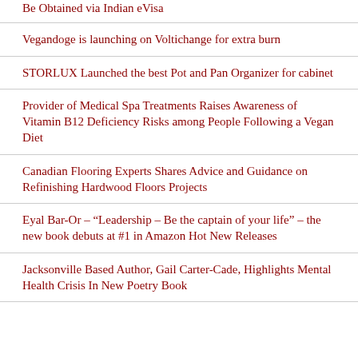Be Obtained via Indian eVisa
Vegandoge is launching on Voltichange for extra burn
STORLUX Launched the best Pot and Pan Organizer for cabinet
Provider of Medical Spa Treatments Raises Awareness of Vitamin B12 Deficiency Risks among People Following a Vegan Diet
Canadian Flooring Experts Shares Advice and Guidance on Refinishing Hardwood Floors Projects
Eyal Bar-Or – “Leadership – Be the captain of your life” – the new book debuts at #1 in Amazon Hot New Releases
Jacksonville Based Author, Gail Carter-Cade, Highlights Mental Health Crisis In New Poetry Book